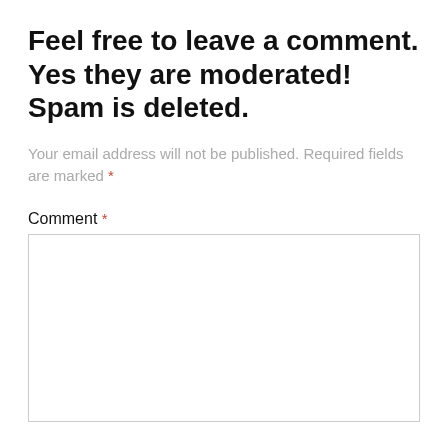Feel free to leave a comment. Yes they are moderated! Spam is deleted.
Your email address will not be published. Required fields are marked *
Comment *